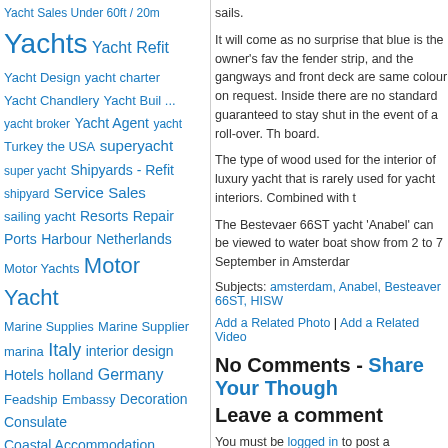Yacht Sales Under 60ft / 20m
Yachts Yacht Refit
Yacht Design yacht charter
Yacht Chandlery Yacht Buil ...
yacht broker Yacht Agent yacht
Turkey the USA superyacht
super yacht Shipyards - Refit
shipyard Service Sales
sailing yacht Resorts Repair
Ports Harbour Netherlands
Motor Yachts Motor Yacht
Marine Supplies Marine Supplier
marina Italy interior design
Hotels holland Germany
Feadship Embassy Decoration
Consulate
Coastal Accommodation
Car Rental Boat
sails.
It will come as no surprise that blue is the owner's fav the fender strip, and the gangways and front deck are same colour on request. Inside there are no standard guaranteed to stay shut in the event of a roll-over. Th board.
The type of wood used for the interior of luxury yacht that is rarely used for yacht interiors. Combined with t
The Bestevaer 66ST yacht 'Anabel' can be viewed to water boat show from 2 to 7 September in Amsterdar
Subjects: amsterdam, Anabel, Besteaver 66ST, HISW
Add a Related Photo | Add a Related Video
No Comments - Share Your Though
Leave a comment
You must be logged in to post a comment.